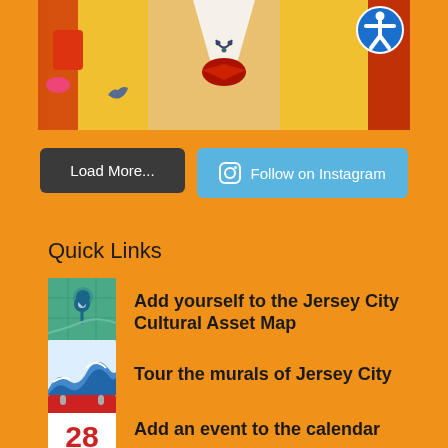[Figure (photo): Close-up photo of people wearing yellow/gold Korean hanbok traditional clothing with red bow ties and accents]
Load More...
Follow on Instagram
Quick Links
[Figure (map): Small thumbnail of Jersey City Cultural Asset Map - teal/green map with location pin]
Add yourself to the Jersey City Cultural Asset Map
[Figure (illustration): Small thumbnail showing a stylized wave mural illustration in blue tones]
Tour the murals of Jersey City
[Figure (illustration): Small thumbnail of a calendar showing the number 28]
Add an event to the calendar